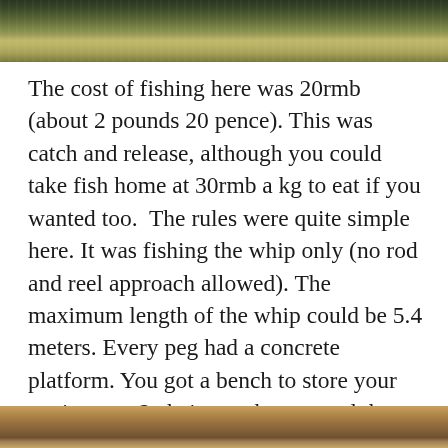[Figure (photo): Top portion of a photo showing water/river with reflections and vegetation, appears to be a fishing location]
The cost of fishing here was 20rmb (about 2 pounds 20 pence). This was catch and release, although you could take fish home at 30rmb a kg to eat if you wanted too.  The rules were quite simple here. It was fishing the whip only (no rod and reel approach allowed). The maximum length of the whip could be 5.4 meters. Every peg had a concrete platform. You got a bench to store your equipment, 2 chairs on the peg and the fishery provide a landing net too. This fishery didn't give me a keepnet, but instead gave me a large polystyrene box which you fill with water and use it like a keepnet.
[Figure (photo): Bottom portion of a photo, partially visible, showing what appears to be a fishing scene]